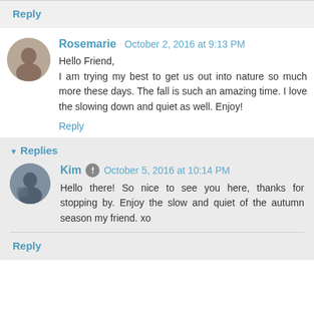Reply
Rosemarie  October 2, 2016 at 9:13 PM
Hello Friend,
I am trying my best to get us out into nature so much more these days. The fall is such an amazing time. I love the slowing down and quiet as well. Enjoy!
Reply
▾ Replies
Kim  October 5, 2016 at 10:14 PM
Hello there! So nice to see you here, thanks for stopping by. Enjoy the slow and quiet of the autumn season my friend. xo
Reply